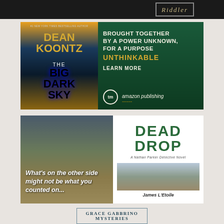[Figure (photo): Partial top banner with dark background showing 'RIDDLER' text in decorative box with serif italic font]
[Figure (photo): Dean Koontz 'The Big Dark Sky' book advertisement by Amazon Publishing. Book cover on left, tagline on right: 'BROUGHT TOGETHER BY A POWER UNKNOWN, FOR A PURPOSE UNTHINKABLE' with 'LEARN MORE' call to action]
[Figure (photo): Dead Drop by James L'Etoile book advertisement. Desert/Arizona landscape background on left with italic quote text: 'What's on the other side might not be what you counted on...' Book cover on right with title 'DEAD DROP' and subtitle 'A Nathan Parker Detective Novel']
[Figure (photo): Partial bottom banner showing 'GRACE GABBRINO MYSTERIES' or similar text in a bordered box]